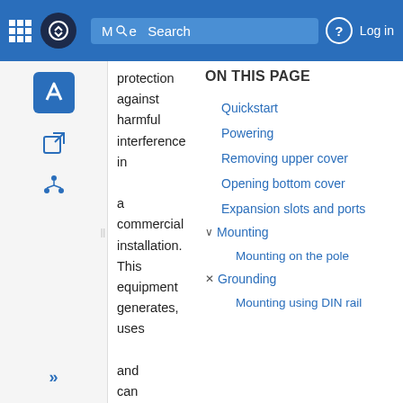Mode Search | Log in
protection against harmful interference in a commercial installation. This equipment generates, uses and can radiate radio frequency energy and, if
ON THIS PAGE
Quickstart
Powering
Removing upper cover
Opening bottom cover
Expansion slots and ports
Mounting
Mounting on the pole
Grounding
Mounting using DIN rail